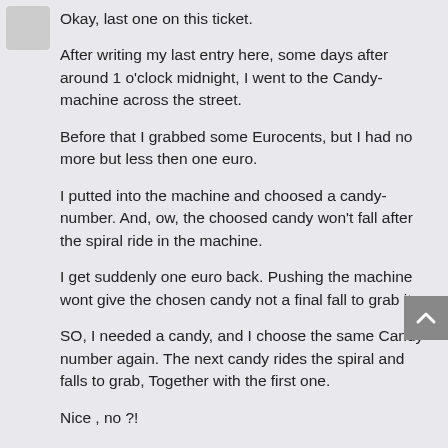Okay, last one on this ticket.
After writing my last entry here, some days after around 1 o'clock midnight, I went to the Candy-machine across the street.
Before that I grabbed some Eurocents, but I had no more but less then one euro.
I putted into the machine and choosed a candy-number. And, ow, the choosed candy won't fall after the spiral ride in the machine.
I get suddenly one euro back. Pushing the machine wont give the chosen candy not a final fall to grab it.
SO, I needed a candy, and I choose the same Candy-number again. The next candy rides the spiral and falls to grab, Together with the first one.
Nice , no ?!
But, again it gives me money back. I think almost the same